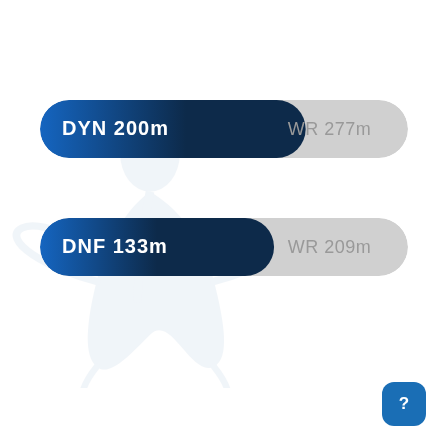[Figure (infographic): Two horizontal progress bar indicators. First bar: 'DYN 200m' (blue fill, ~72% of bar) with 'WR 277m' label in grey area. Second bar: 'DNF 133m' (blue fill, ~64% of bar) with 'WR 209m' label in grey area. Faint diver watermark in background. Blue help/info button in bottom right.]